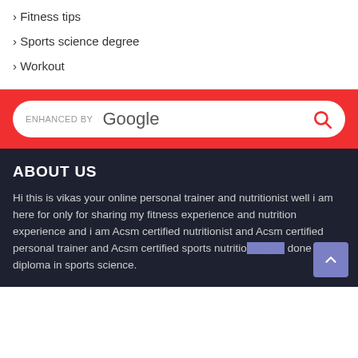Fitness tips
Sports science degree
Workout
[Figure (screenshot): Enhanced by Google search bar with red background and search icon]
ABOUT US
Hi this is vikas your online personal trainer and nutritionist well i am here for only for sharing my fitness experience and nutrition experience and i am Acsm certified nutritionist and Acsm certified personal trainer and Acsm certified sports nutritionist and done diploma in sports science.